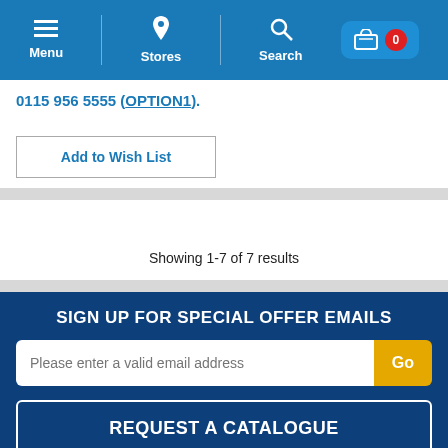[Figure (screenshot): Navigation bar with Menu, Stores, Search icons and shopping cart with 0 badge]
0115 956 5555 (OPTION1).
Add to Wish List
Showing 1-7 of 7 results
SIGN UP FOR SPECIAL OFFER EMAILS
Please enter a valid email address
Go
REQUEST A CATALOGUE